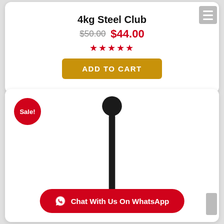4kg Steel Club
$50.00 $44.00
★★★★★
ADD TO CART
[Figure (photo): Photo of a black steel club (mace/gada) with a round ball at the top and a long narrow handle, shown vertically against a white background. A red 'Sale!' badge is in the top left corner.]
Chat With Us On WhatsApp